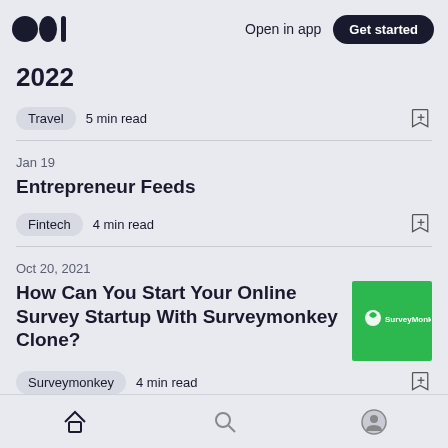Medium logo | Open in app | Get started
2022
Travel  5 min read
Jan 19
Entrepreneur Feeds
Fintech  4 min read
Oct 20, 2021
How Can You Start Your Online Survey Startup With Surveymonkey Clone?
[Figure (logo): SurveyMonkey green logo thumbnail]
Surveymonkey  4 min read
Home | Search | Profile